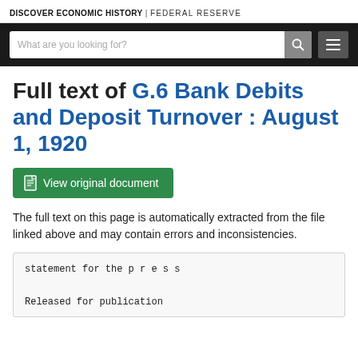DISCOVER ECONOMIC HISTORY | FEDERAL RESERVE
Full text of G.6 Bank Debits and Deposit Turnover : August 1, 1920
View original document
The full text on this page is automatically extracted from the file linked above and may contain errors and inconsistencies.
statement for the p r e s s

Released for publication